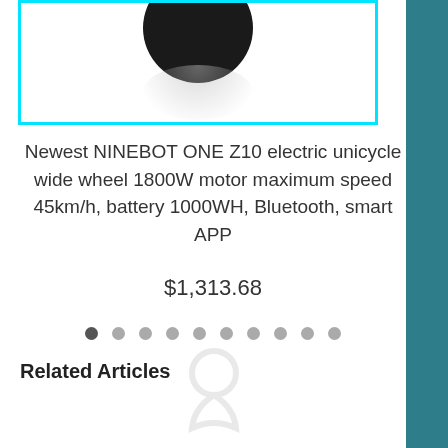[Figure (photo): Product photo of NINEBOT ONE Z10 electric unicycle showing black wheel at top with reflection, inside a cyan-bordered box]
Newest NINEBOT ONE Z10 electric unicycle wide wheel 1800W motor maximum speed 45km/h, battery 1000WH, Bluetooth, smart APP
$1,313.68
[Figure (other): Pagination dots carousel: 10 dots, first dot dark/active, rest light gray]
Related Articles
[Figure (other): Faint ghost/placeholder icon at bottom center of page]